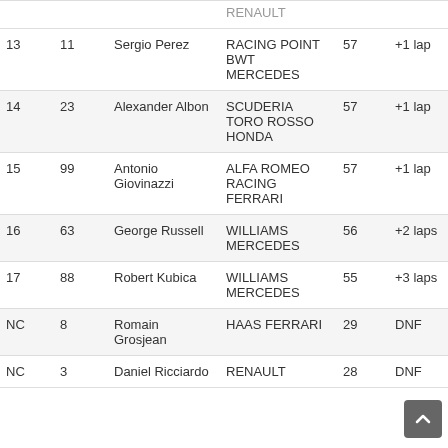| POS | NO | DRIVER | TEAM | LAPS | TIME/RETIRED |
| --- | --- | --- | --- | --- | --- |
| 13 | 11 | Sergio Perez | RACING POINT BWT MERCEDES | 57 | +1 lap |
| 14 | 23 | Alexander Albon | SCUDERIA TORO ROSSO HONDA | 57 | +1 lap |
| 15 | 99 | Antonio Giovinazzi | ALFA ROMEO RACING FERRARI | 57 | +1 lap |
| 16 | 63 | George Russell | WILLIAMS MERCEDES | 56 | +2 laps |
| 17 | 88 | Robert Kubica | WILLIAMS MERCEDES | 55 | +3 laps |
| NC | 8 | Romain Grosjean | HAAS FERRARI | 29 | DNF |
| NC | 3 | Daniel Ricciardo | RENAULT | 28 | DNF |